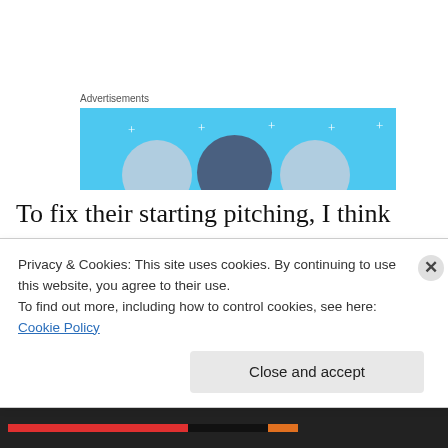[Figure (illustration): Advertisement banner with light blue background showing three circular avatar/head silhouettes and decorative star/sparkle dots in white]
To fix their starting pitching, I think they need to focus on someone who can miss some bats. With Alex White and his team-best 7.8 K/9 headed to the disabled list for up to three months with a finger injury, Masterson is the leader with a 6.7 K/9.  That is barely above the AL average of 6.5
Privacy & Cookies: This site uses cookies. By continuing to use this website, you agree to their use.
To find out more, including how to control cookies, see here: Cookie Policy